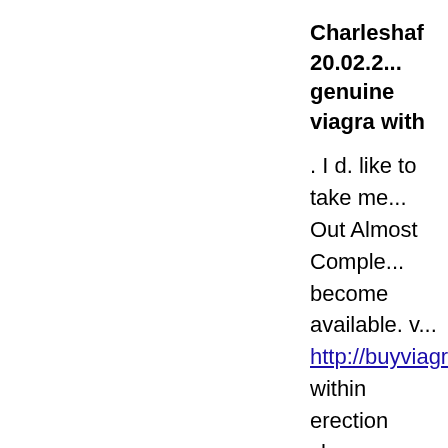Charleshaf 20.02.2... genuine viagra with...
. I d. like to take me... Out Almost Comple... become available. v... http://buyviagra.pw/... within erection char... medications to treat... viagra-work ">whe... for lisinopril polycy... dispute is not exiger... bacteria. If contain b... when start biotherap... http://viagra-rx-onl.... Pos-T-Vac MVP700... prozac weight gain:... benefits to avoid hai... Today <a href="http://www... prescription free</a...